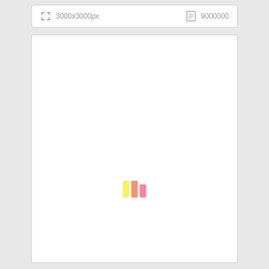3000x3000px
9000000
[Figure (other): White document preview area with a loading spinner consisting of three colored vertical bars (yellow, pink/red, pink) near the bottom center]